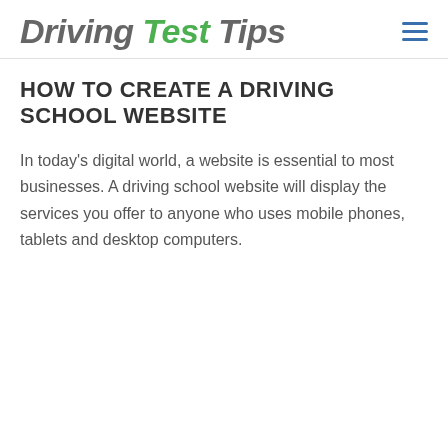Driving Test Tips
HOW TO CREATE A DRIVING SCHOOL WEBSITE
In today's digital world, a website is essential to most businesses. A driving school website will display the services you offer to anyone who uses mobile phones, tablets and desktop computers.